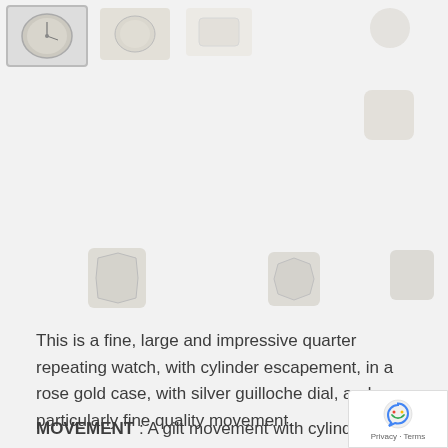[Figure (photo): Row of watch thumbnail images at the top of the page. First thumbnail is selected/highlighted with a border showing a watch face. Additional thumbnails show various views of the watch parts and movement.]
This is a fine, large and impressive quarter repeating watch, with cylinder escapement, in a rose gold case, with silver guilloche dial, and a particularly fine quality movement.
MOVEMENT : A gilt movement with cylinder escapement, and quarter repeating with two polished steel hammers striking two steel gon... The cylinder escapement features a Breguet t... parachute shock protection, a temperature